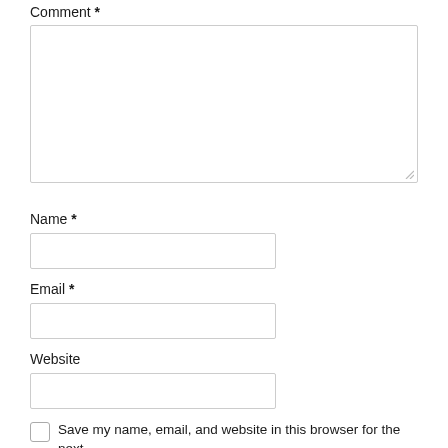Comment *
[Figure (other): Large textarea input box for comment]
Name *
[Figure (other): Text input box for name]
Email *
[Figure (other): Text input box for email]
Website
[Figure (other): Text input box for website]
Save my name, email, and website in this browser for the next